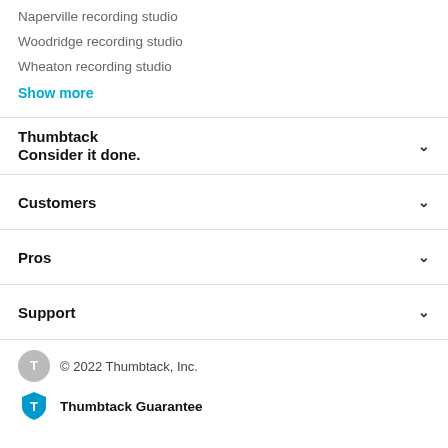Naperville recording studio
Woodridge recording studio
Wheaton recording studio
Show more
Thumbtack
Consider it done.
Customers
Pros
Support
© 2022 Thumbtack, Inc.
Thumbtack Guarantee